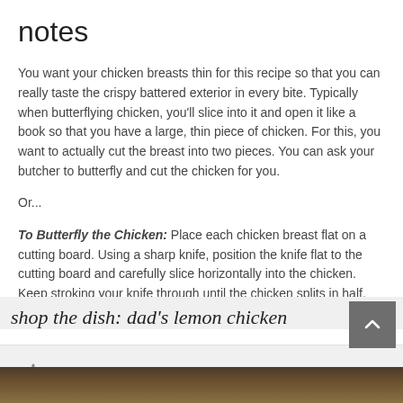notes
You want your chicken breasts thin for this recipe so that you can really taste the crispy battered exterior in every bite. Typically when butterflying chicken, you'll slice into it and open it like a book so that you have a large, thin piece of chicken. For this, you want to actually cut the breast into two pieces. You can ask your butcher to butterfly and cut the chicken for you.
Or...
To Butterfly the Chicken: Place each chicken breast flat on a cutting board. Using a sharp knife, position the knife flat to the cutting board and carefully slice horizontally into the chicken. Keep stroking your knife through until the chicken splits in half, resulting in two thinner chicken breasts.
shop the dish: dad's lemon chicken
[Figure (photo): Food photo showing pasta dish with lemon chicken, partially visible at bottom of page]